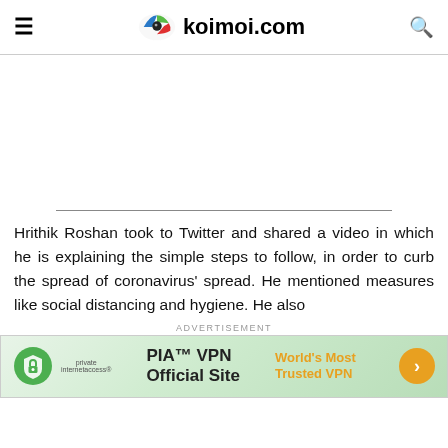koimoi.com
Hrithik Roshan took to Twitter and shared a video in which he is explaining the simple steps to follow, in order to curb the spread of coronavirus' spread. He mentioned measures like social distancing and hygiene. He also
ADVERTISEMENT
[Figure (other): PIA VPN advertisement banner — Private Internet Access logo on left, 'PIA™ VPN Official Site' text in center, 'World's Most Trusted VPN' in orange on right with orange arrow button]